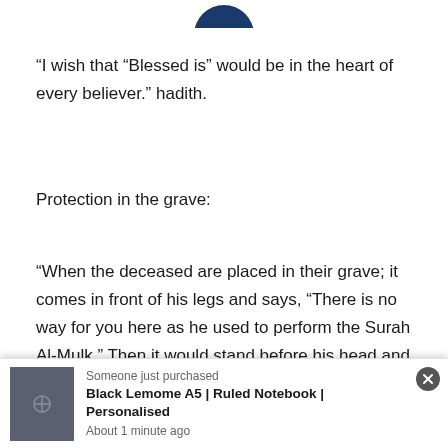[Figure (logo): Partial blue circular logo at top center, partially cropped]
“I wish that “Blessed is” would be in the heart of every believer.” hadith.
Protection in the grave:
“When the deceased are placed in their grave; it comes in front of his legs and says, “There is no way for you here as he used to perform the Surah Al-Mulk.” Then it would stand before his head and say to his tongue, “There is no
[Figure (other): Purchase notification popup: Black Lemome A5 | Ruled Notebook | Personalised, About 1 minute ago, with dark gray notebook image and close button]